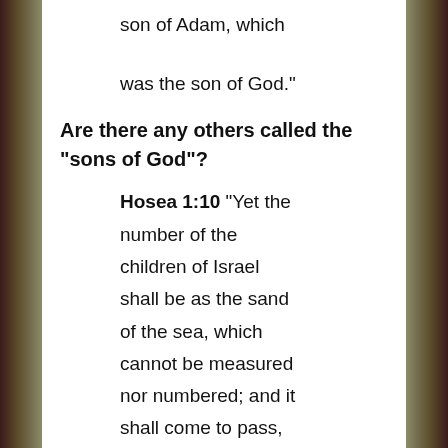son of Adam, which was the son of God."
Are there any others called the "sons of God"?
Hosea 1:10 "Yet the number of the children of Israel shall be as the sand of the sea, which cannot be measured nor numbered; and it shall come to pass, that in the place where it was said